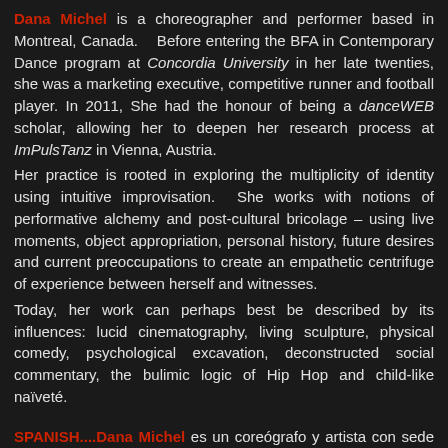Dana Michel is a choreographer and performer based in Montreal, Canada. Before entering the BFA in Contemporary Dance program at Concordia University in her late twenties, she was a marketing executive, competitive runner and football player. In 2011, She had the honour of being a danceWEB scholar, allowing her to deepen her research process at ImPulsTanz in Vienna, Austria.
Her practice is rooted in exploring the multiplicity of identity using intuitive improvisation. She works with notions of performative alchemy and post-cultural bricolage – using live moments, object appropriation, personal history, future desires and current preoccupations to create an empathetic centrifuge of experience between herself and witnesses.
Today, her work can perhaps best be described by its influences: lucid cinematography, living sculpture, physical comedy, psychological excavation, deconstructed social commentary, the bulimic logic of Hip Hop and child-like naïveté.
SPANISH....Dana Michel es un coreógrafo y artista con sede en Montreal, Canadá. Antes de entrar en el BFA en